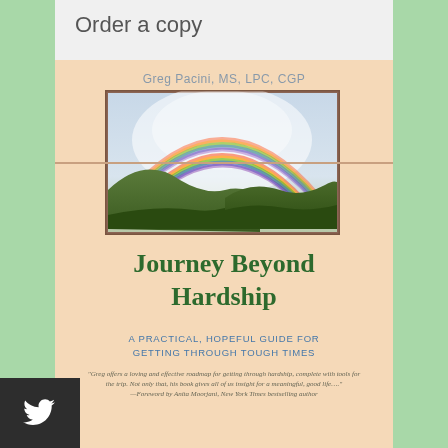Order a copy
Greg Pacini, MS, LPC, CGP
[Figure (photo): Book cover of 'Journey Beyond Hardship' by Greg Pacini, MS, LPC, CGP. Features a photo of a rainbow over rolling hills, with an orange/peach background. Title in green serif font, subtitle 'A PRACTICAL, HOPEFUL GUIDE FOR GETTING THROUGH TOUGH TIMES' in blue, and a quote foreworded by Anita Moorjani, New York Times bestselling author.]
Journey Beyond Hardship
A PRACTICAL, HOPEFUL GUIDE FOR GETTING THROUGH TOUGH TIMES
"Greg offers a loving and effective roadmap for getting through hardship, complete with tools for the trip. Not only that, his book gives all of us insight for a meaningful, good life..." —Foreword by Anita Moorjani, New York Times bestselling author